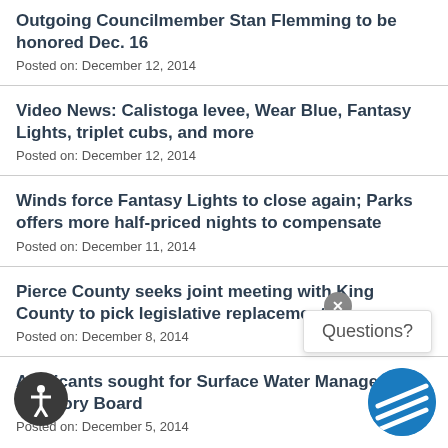Outgoing Councilmember Stan Flemming to be honored Dec. 16
Posted on: December 12, 2014
Video News: Calistoga levee, Wear Blue, Fantasy Lights, triplet cubs, and more
Posted on: December 12, 2014
Winds force Fantasy Lights to close again; Parks offers more half-priced nights to compensate
Posted on: December 11, 2014
Pierce County seeks joint meeting with King County to pick legislative replacement
Posted on: December 8, 2014
Applicants sought for Surface Water Management Advisory Board
Posted on: December 5, 2014